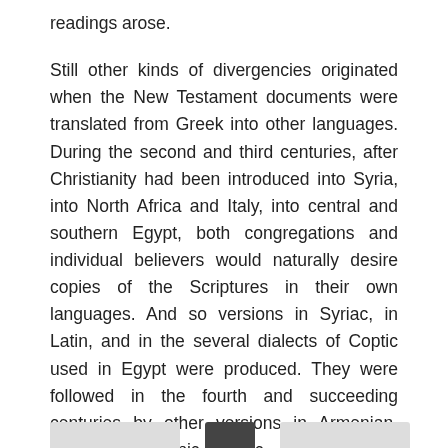readings arose.
Still other kinds of divergencies originated when the New Testament documents were translated from Greek into other languages. During the second and third centuries, after Christianity had been introduced into Syria, into North Africa and Italy, into central and southern Egypt, both congregations and individual believers would naturally desire copies of the Scriptures in their own languages. And so versions in Syriac, in Latin, and in the several dialects of Coptic used in Egypt were produced. They were followed in the fourth and succeeding centuries by other versions in Armenian, Georgian, Ethiopic, Arabic, and Nubian in the East, and in Gothic, Old Church Slavonic, and (much later) Anglo-Saxon in the West.